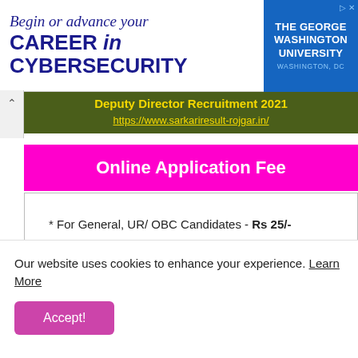[Figure (screenshot): Advertisement banner for The George Washington University Cybersecurity program. Text reads: Begin or advance your CAREER in CYBERSECURITY. Logo: THE GEORGE WASHINGTON UNIVERSITY WASHINGTON, DC]
Deputy Director Recruitment 2021
https://www.sarkariresult-rojgar.in/
Online Application Fee
* For General, UR/ OBC Candidates - Rs 25/-
* For SC/ ST/ Candidates - Rs 0/-
* For PH Candidates - Rs 0/-
Online/ Payment Mode
Our website uses cookies to enhance your experience. Learn More
Accept!